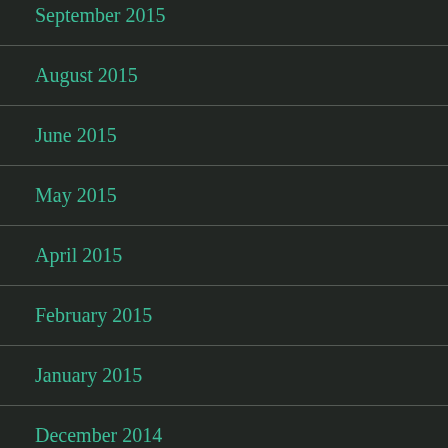September 2015
August 2015
June 2015
May 2015
April 2015
February 2015
January 2015
December 2014
November 2014